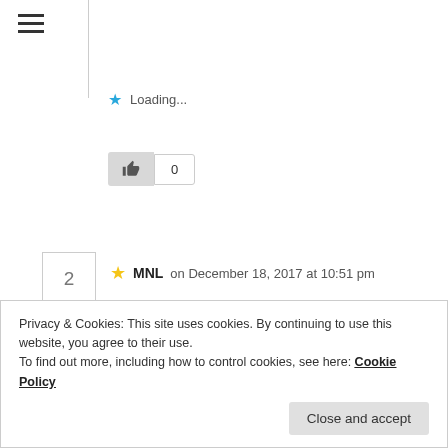[Figure (other): Hamburger menu icon (three horizontal lines)]
Loading...
[Figure (other): Thumbs up like button with count 0]
2
MNL on December 18, 2017 at 10:51 pm
Yay! Glad it was an informative read. Does a happy dance! Even happier someone read the whole thing! Thank you!
Loading...
Privacy & Cookies: This site uses cookies. By continuing to use this website, you agree to their use.
To find out more, including how to control cookies, see here: Cookie Policy
Close and accept